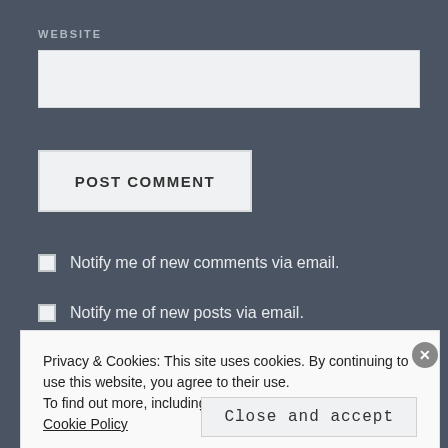WEBSITE
[Figure (screenshot): Empty text input field for website URL]
POST COMMENT
Notify me of new comments via email.
Notify me of new posts via email.
Privacy & Cookies: This site uses cookies. By continuing to use this website, you agree to their use.
To find out more, including how to control cookies, see here: Cookie Policy
Close and accept